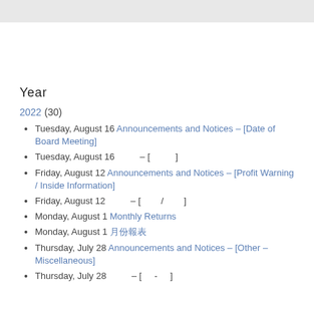Year
2022 (30)
Tuesday, August 16 Announcements and Notices – [Date of Board Meeting]
Tuesday, August 16  – [  ]
Friday, August 12 Announcements and Notices – [Profit Warning / Inside Information]
Friday, August 12  – [  /  ]
Monday, August 1 Monthly Returns
Monday, August 1 月份報表
Thursday, July 28 Announcements and Notices – [Other – Miscellaneous]
Thursday, July 28  – [  -  ]